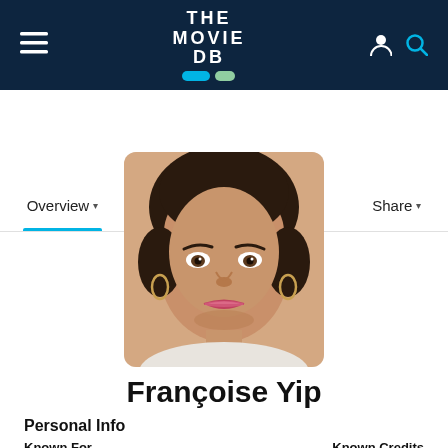THE MOVIE DB (logo with teal and green pills)
Overview ▾   Media ▾   Fandom ▾   Share ▾
[Figure (photo): Portrait photo of Françoise Yip, a woman with dark hair pulled back, wearing hoop earrings, looking directly at the camera with a slight smile and wearing light pink lipstick.]
Françoise Yip
Personal Info
Known For     Known Credits